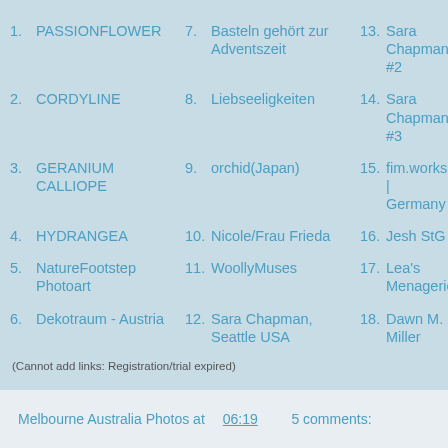1. PASSIONFLOWER
7. Basteln gehört zur Adventszeit
13. Sara Chapman #2
2. CORDYLINE
8. Liebseeligkeiten
14. Sara Chapman #3
3. GERANIUM CALLIOPE
9. orchid(Japan)
15. fim.works | Germany
4. HYDRANGEA
10. Nicole/Frau Frieda
16. Jesh StG
5. NatureFootstep Photoart
11. WoollyMuses
17. Lea's Menagerie
6. Dekotraum - Austria
12. Sara Chapman, Seattle USA
18. Dawn M. Miller
(Cannot add links: Registration/trial expired)
Melbourne Australia Photos at 06:19    5 comments: